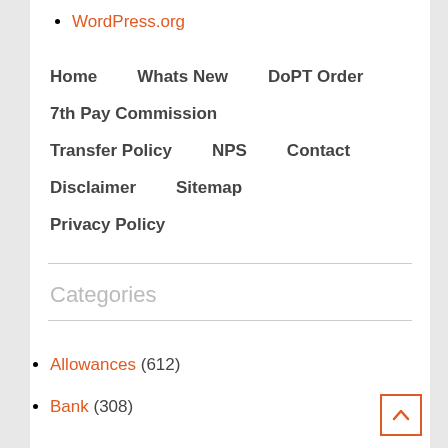WordPress.org
Home    Whats New    DoPT Order
7th Pay Commission
Transfer Policy    NPS    Contact
Disclaimer    Sitemap
Privacy Policy
Categories
Allowances (612)
Bank (308)